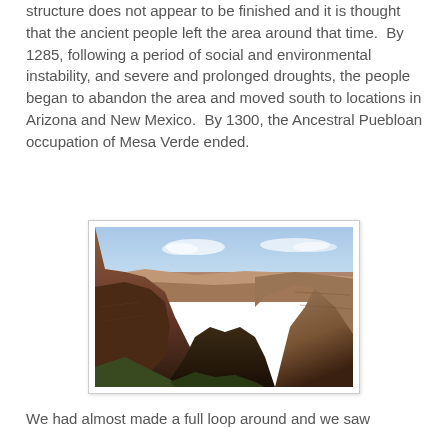structure does not appear to be finished and it is thought that the ancient people left the area around that time.  By 1285, following a period of social and environmental instability, and severe and prolonged droughts, the people began to abandon the area and moved south to locations in Arizona and New Mexico.  By 1300, the Ancestral Puebloan occupation of Mesa Verde ended.
[Figure (photo): Photograph of a canyon landscape at Mesa Verde, showing deep canyon walls with layered red and brown rock formations under a light blue sky.]
We had almost made a full loop around and we saw